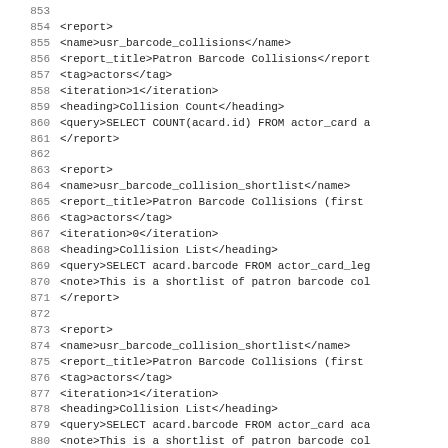XML source code lines 853-885 showing report definitions for usr_barcode_collisions, usr_barcode_collision_shortlist (x2), and usr_barcode_collision_patterns